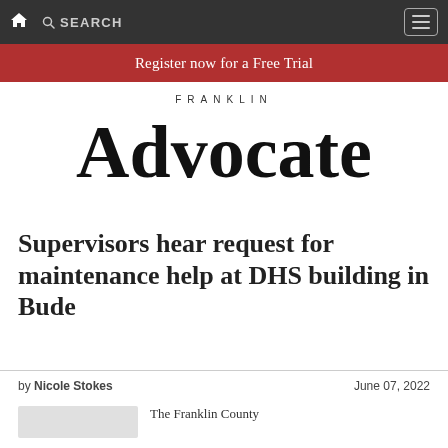SEARCH [navigation bar with home icon and menu]
Register now for a Free Trial
[Figure (logo): Franklin Advocate newspaper logo in blackletter/gothic font]
Supervisors hear request for maintenance help at DHS building in Bude
by Nicole Stokes   June 07, 2022
The Franklin County